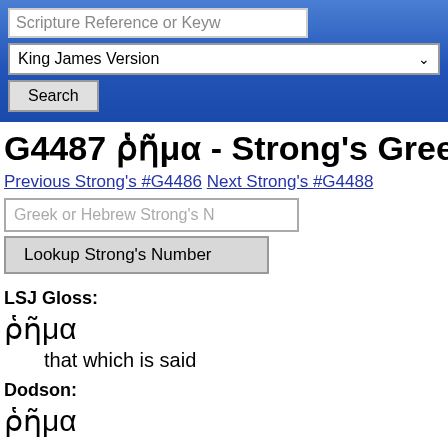Scripture Reference or Keyw
King James Version
Search
G4487 ῥῆμα - Strong's Greek
Previous Strong's #G4486  Next Strong's #G4488
Greek or Hebrew Strong's N
Lookup Strong's Number
LSJ Gloss:
ῥῆμα
that which is said
Dodson:
ῥῆμα